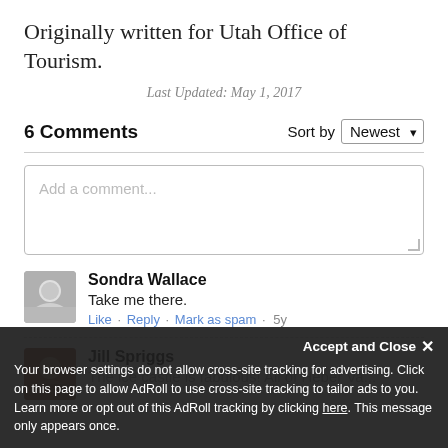Originally written for Utah Office of Tourism.
Last Updated: May 1, 2017
6 Comments
Sort by Newest
Add a comment...
Sondra Wallace
Take me there.
Like · Reply · Mark as spam · 5y
Jill Spriggs
The ice castle is fabulous! All of Heber Va...
Accept and Close ×
Your browser settings do not allow cross-site tracking for advertising. Click on this page to allow AdRoll to use cross-site tracking to tailor ads to you. Learn more or opt out of this AdRoll tracking by clicking here. This message only appears once.